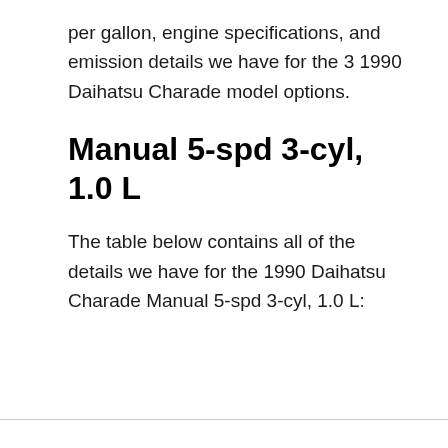per gallon, engine specifications, and emission details we have for the 3 1990 Daihatsu Charade model options.
Manual 5-spd 3-cyl, 1.0 L
The table below contains all of the details we have for the 1990 Daihatsu Charade Manual 5-spd 3-cyl, 1.0 L: